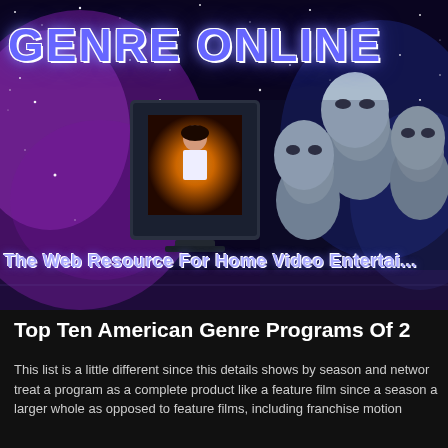[Figure (illustration): Genre Online website banner with space/sci-fi theme: starfield background with purple nebula clouds, 3D alien figures watching a television monitor showing a woman, with 'GENRE ONLINE' title text and subtitle 'The Web Resource For Home Video Entertainment']
Top Ten American Genre Programs Of 2
This list is a little different since this details shows by season and network treat a program as a complete product like a feature film since a season a larger whole as opposed to feature films, including franchise motion